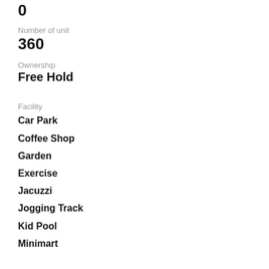0
Number of unit
360
Ownership
Free Hold
Facility
Car Park
Coffee Shop
Garden
Exercise
Jacuzzi
Jogging Track
Kid Pool
Minimart